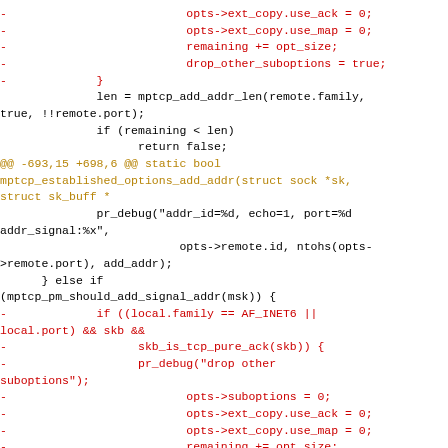Code diff showing removed lines with opts->ext_copy, remaining, drop_other_suboptions, and hunk header @@ -693,15 +698,6 @@ static bool mptcp_established_options_add_addr, followed by context lines and more removed lines